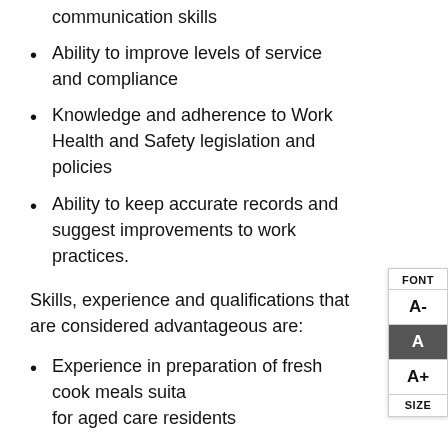communication skills
Ability to improve levels of service and compliance
Knowledge and adherence to Work Health and Safety legislation and policies
Ability to keep accurate records and suggest improvements to work practices.
Skills, experience and qualifications that are considered advantageous are:
Experience in preparation of fresh cook meals suitable for aged care residents
Experience with texture modified foods and understanding of nutritional requirements for the elderly